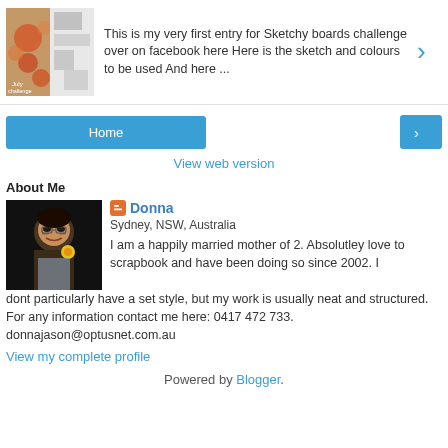[Figure (screenshot): Thumbnail image of a scrapbook July challenge page with floral and grey geometric elements]
This is my very first entry for Sketchy boards challenge over on facebook here Here is the sketch and colours to be used And here ...
Home
View web version
About Me
[Figure (photo): Profile photo of Donna, a woman with glasses smiling, dark background]
Donna
Sydney, NSW, Australia
I am a happily married mother of 2. Absolutley love to scrapbook and have been doing so since 2002. I dont particularly have a set style, but my work is usually neat and structured. For any information contact me here: 0417 472 733. donnajason@optusnet.com.au
View my complete profile
Powered by Blogger.